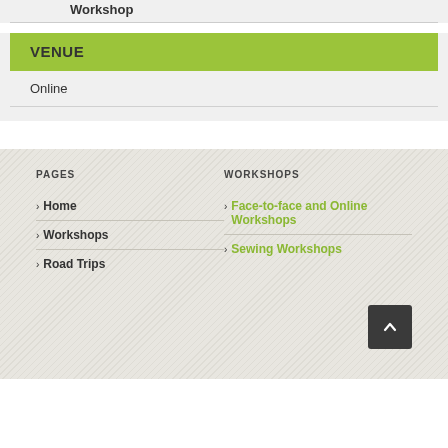Workshop
VENUE
Online
PAGES
WORKSHOPS
> Home
> Workshops
> Road Trips
> Face-to-face and Online Workshops
> Sewing Workshops